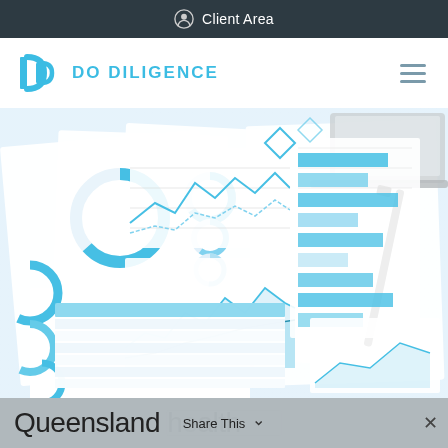Client Area
[Figure (logo): Do Diligence logo with stylized DD icon in cyan/blue and text DO DILIGENCE in teal capitals]
[Figure (photo): Overhead photo of business/financial analytics charts including donut charts, line charts, bar charts and area charts on white paper sheets, with a pen, on a desk]
Queensland health